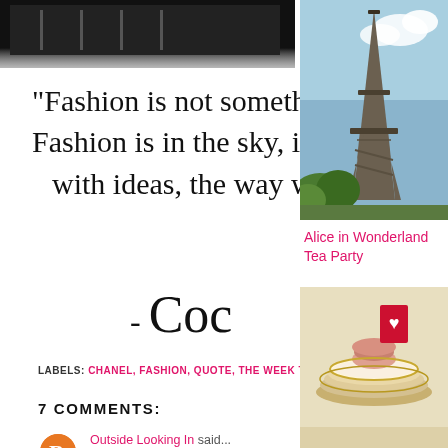[Figure (photo): Dark photograph strip at top left, appears to be a closet or clothing rack]
“Fashion is not somethin Fashion is in the sky, in th with ideas, the way we
- Coc
LABELS: CHANEL, FASHION, QUOTE, THE WEEK THAT WAS
7 COMMENTS:
Outside Looking In said...
Great closet! Love all those Chanel boxes
[Figure (photo): Photo of Eiffel Tower from below against blue sky with trees]
Alice in Wonderland Tea Party
[Figure (photo): Photo of an elegant tea party place setting with red heart card and dessert]